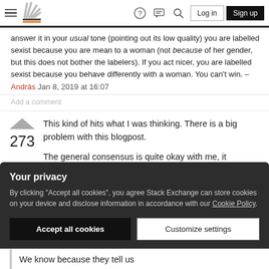Stack Exchange navigation bar with hamburger menu, logo, help, chat, search icons, Log in and Sign up buttons
answer it in your usual tone (pointing out its low quality) you are labelled sexist because you are mean to a woman (not because of her gender, but this does not bother the labelers). If you act nicer, you are labelled sexist because you behave differently with a woman. You can't win. – András Jan 8, 2019 at 16:07
Add a comment
This kind of hits what I was thinking. There is a big problem with this blogpost.
The general consensus is quite okay with me, it
Your privacy
By clicking "Accept all cookies", you agree Stack Exchange can store cookies on your device and disclose information in accordance with our Cookie Policy.
Accept all cookies
Customize settings
We know because they tell us